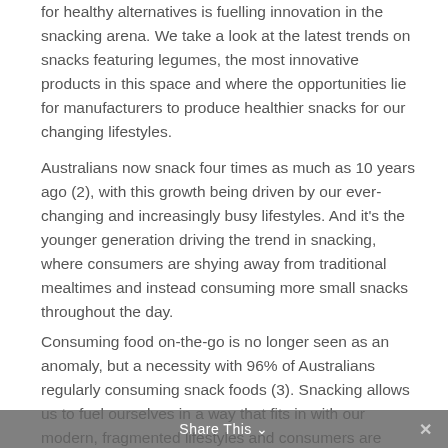for healthy alternatives is fuelling innovation in the snacking arena. We take a look at the latest trends on snacks featuring legumes, the most innovative products in this space and where the opportunities lie for manufacturers to produce healthier snacks for our changing lifestyles.
Australians now snack four times as much as 10 years ago (2), with this growth being driven by our ever-changing and increasingly busy lifestyles. And it's the younger generation driving the trend in snacking, where consumers are shying away from traditional mealtimes and instead consuming more small snacks throughout the day.
Consuming food on-the-go is no longer seen as an anomaly, but a necessity with 96% of Australians regularly consuming snack foods (3). Snacking allows us to fuel ourselves in a way that fits in with our modern, fragmented lifestyles and consumers are increasingly demanding healthier, more innovative options. And this
Share This ∨  ✕